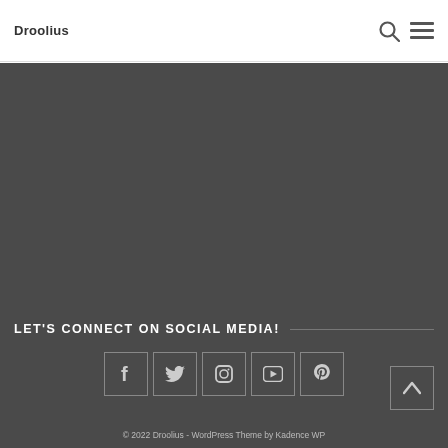Droolius
[Figure (other): Dark grey background section filling the main body of the page below the header]
LET'S CONNECT ON SOCIAL MEDIA!
[Figure (other): Row of 5 social media icon boxes: Facebook, Twitter, Instagram, YouTube, Pinterest]
© 2022 Droolius - WordPress Theme by Kadence WP